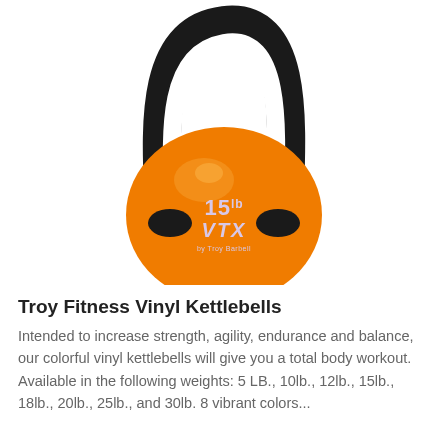[Figure (photo): An orange vinyl kettlebell with a black iron handle. The kettlebell body is bright orange with white text reading '15lb' and 'VTX' printed on it, along with smaller text 'by Troy Barbell'. The handle is black and forms a rounded arch over the top.]
Troy Fitness Vinyl Kettlebells
Intended to increase strength, agility, endurance and balance, our colorful vinyl kettlebells will give you a total body workout. Available in the following weights: 5 LB., 10lb., 12lb., 15lb., 18lb., 20lb., 25lb., and 30lb. 8 vibrant colors...